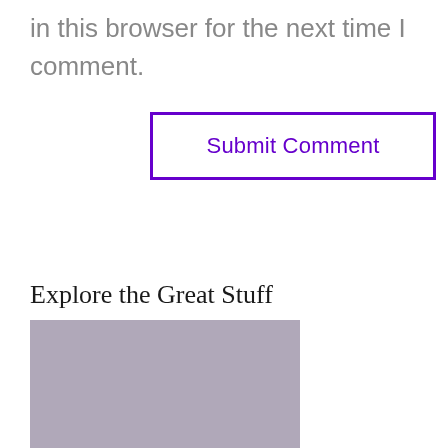in this browser for the next time I comment.
Submit Comment
Explore the Great Stuff
[Figure (photo): A gray-toned image, partially visible at the bottom of the page, showing a muted grayish-purple background.]